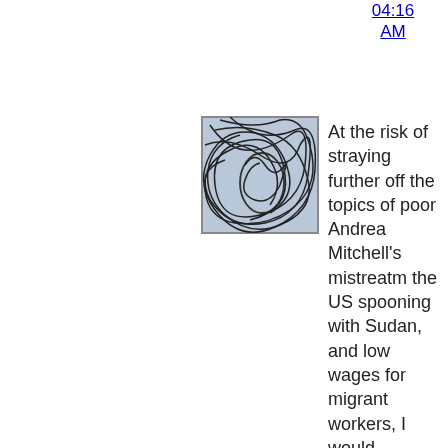04:16 AM
[Figure (illustration): Small square avatar image showing abstract tangled dark lines on a light blue-grey background, resembling a sketch or scribble portrait]
At the risk of straying further off the topics of poor Andrea Mitchell's mistreatm the US spooning with Sudan, and low wages for migrant workers, I would